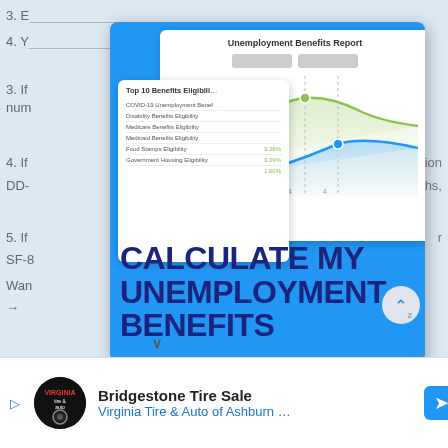3. E
4. Y
3. If
num
4. If
ation
ths,
DD-
5. If
r
SF-8
Wan
[Figure (screenshot): Unemployment Benefits Report modal overlay on a blue background showing a line chart with green and blue curves and a 'Top 10 Benefits Eligibility' list card. The modal contains a call-to-action heading 'CALCULATE MY UNEMPLOYMENT BENEFITS'.]
CALCULATE MY UNEMPLOYMENT BENEFITS
Bridgestone Tire Sale
Virginia Tire & Auto of Ashburn …